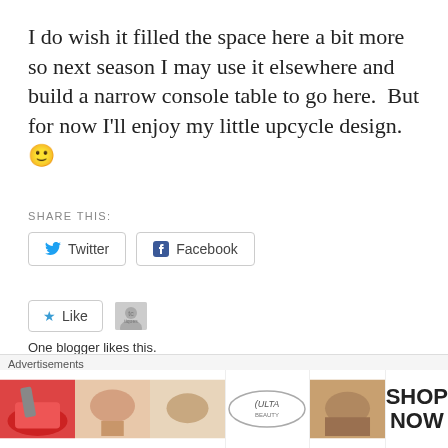I do wish it filled the space here a bit more so next season I may use it elsewhere and build a narrow console table to go here.  But for now I'll enjoy my little upcycle design. 🙂
SHARE THIS:
Twitter   Facebook
★ Like
One blogger likes this.
RELATED
Upcycled Milk Can   My New Garden Bell
Advertisements